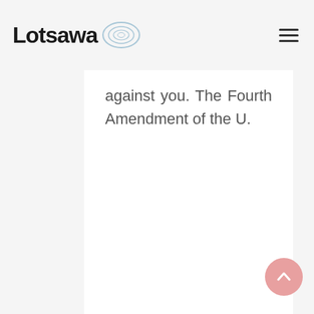Lotsawa
against you. The Fourth Amendment of the U.